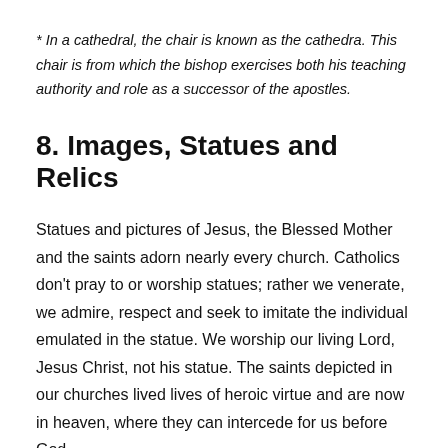* In a cathedral, the chair is known as the cathedra. This chair is from which the bishop exercises both his teaching authority and role as a successor of the apostles.
8. Images, Statues and Relics
Statues and pictures of Jesus, the Blessed Mother and the saints adorn nearly every church. Catholics don't pray to or worship statues; rather we venerate, we admire, respect and seek to imitate the individual emulated in the statue. We worship our living Lord, Jesus Christ, not his statue. The saints depicted in our churches lived lives of heroic virtue and are now in heaven, where they can intercede for us before God.